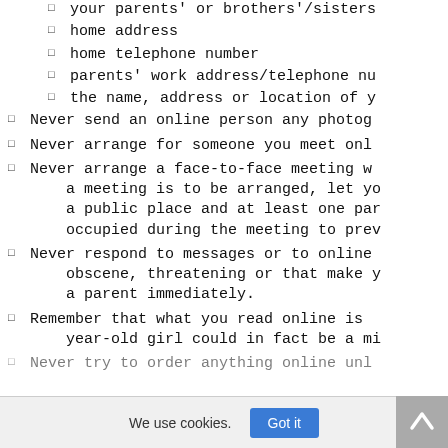your parents' or brothers'/sisters
home address
home telephone number
parents' work address/telephone nu
the name, address or location of y
Never send an online person any photog
Never arrange for someone you meet onl
Never arrange a face-to-face meeting w a meeting is to be arranged, let yo a public place and at least one par occupied during the meeting to prev
Never respond to messages or to online obscene, threatening or that make y a parent immediately.
Remember that what you read online is year-old girl could in fact be a mi
Never try to order anything online unl